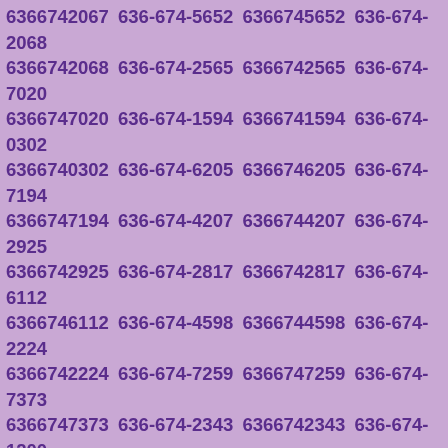6366742067 636-674-5652 6366745652 636-674-2068 6366742068 636-674-2565 6366742565 636-674-7020 6366747020 636-674-1594 6366741594 636-674-0302 6366740302 636-674-6205 6366746205 636-674-7194 6366747194 636-674-4207 6366744207 636-674-2925 6366742925 636-674-2817 6366742817 636-674-6112 6366746112 636-674-4598 6366744598 636-674-2224 6366742224 636-674-7259 6366747259 636-674-7373 6366747373 636-674-2343 6366742343 636-674-1200 6366741200 636-674-9544 6366749544 636-674-6833 6366746833 636-674-8867 6366748867 636-674-5997 6366745997 636-674-5669 6366745669 636-674-2340 6366742340 636-674-3971 6366743971 636-674-2250 6366742250 636-674-2391 6366742391 636-674-5108 6366745108 636-674-1539 6366741539 636-674-6050 6366746050 636-674-4743 6366744743 636-674-2285 6366742285 636-674-2652 6366742652 636-674-3882 6366743882 636-674-2770 6366742770 636-674-1099 6366741099 636-674-8291 6366748291 636-674-7474 6366747474 636-674-0840 6366740840 636-674-1603 6366741603 636-674-6359 6366746359 636-674-8075